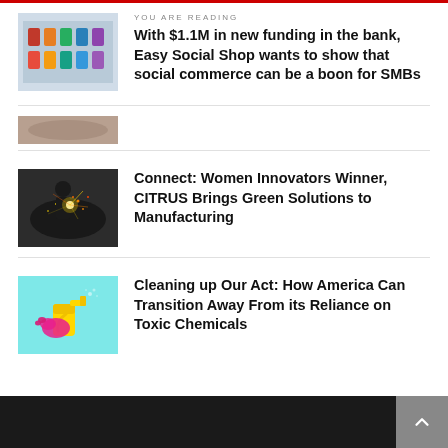YOU ARE READING
With $1.1M in new funding in the bank, Easy Social Shop wants to show that social commerce can be a boon for SMBs
[Figure (photo): Thumbnail image of product bottles on a shelf/storefront]
[Figure (photo): Person welding with sparks flying in a manufacturing setting]
Connect: Women Innovators Winner, CITRUS Brings Green Solutions to Manufacturing
[Figure (photo): Hand in pink glove holding a yellow spray bottle against teal background]
Cleaning up Our Act: How America Can Transition Away From its Reliance on Toxic Chemicals